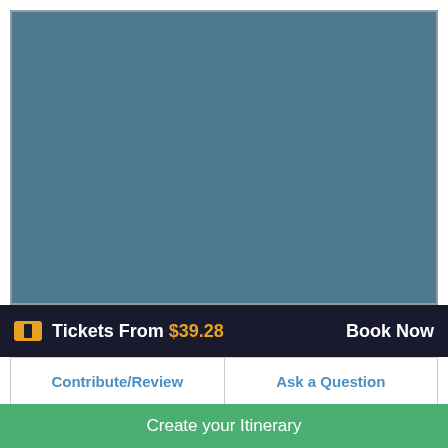[Figure (photo): A beach or coastal scene photo placeholder shown as a solid steel-blue rectangle]
Tickets From $39.28   Book Now
Contribute/Review   Ask a Question
There is not much to do here outside of the usual beach activities. But the sand is soft and white and the bay is beautiful, with headlands on either side of the beach
Create your Itinerary